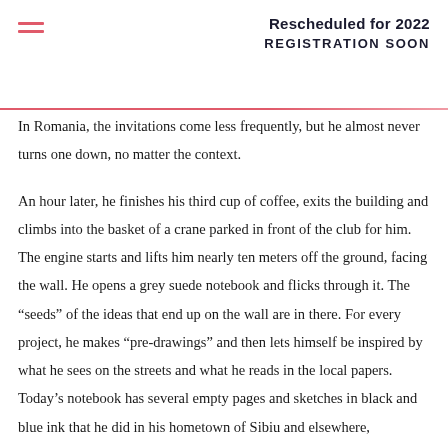Rescheduled for 2022
REGISTRATION SOON
In Romania, the invitations come less frequently, but he almost never turns one down, no matter the context.
An hour later, he finishes his third cup of coffee, exits the building and climbs into the basket of a crane parked in front of the club for him. The engine starts and lifts him nearly ten meters off the ground, facing the wall. He opens a grey suede notebook and flicks through it. The “seeds” of the ideas that end up on the wall are in there. For every project, he makes “pre-drawings” and then lets himself be inspired by what he sees on the streets and what he reads in the local papers. Today’s notebook has several empty pages and sketches in black and blue ink that he did in his hometown of Sibiu and elsewhere,